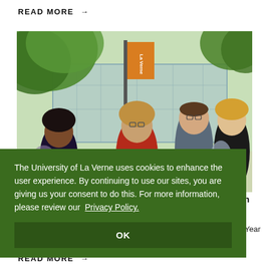READ MORE →
[Figure (photo): University of La Verne campus photo showing a woman in red and students gathered outdoors near a banner pole with an orange banner, trees overhead and a glass building behind]
The University of La Verne uses cookies to enhance the user experience. By continuing to use our sites, you are giving us your consent to do this. For more information, please review our Privacy Policy.
OK
rnal's Health
rman will f the Year and
READ MORE →